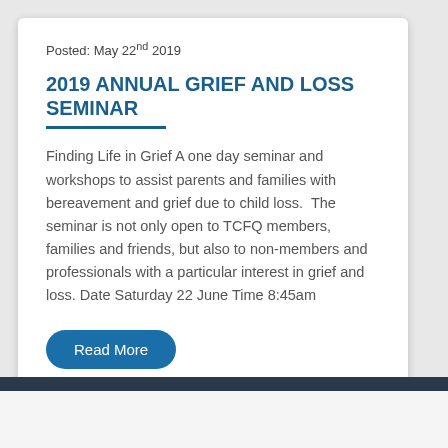Posted: May 22nd 2019
2019 ANNUAL GRIEF AND LOSS SEMINAR
Finding Life in Grief A one day seminar and workshops to assist parents and families with bereavement and grief due to child loss.  The seminar is not only open to TCFQ members, families and friends, but also to non-members and professionals with a particular interest in grief and loss. Date Saturday 22 June Time 8:45am
Read More